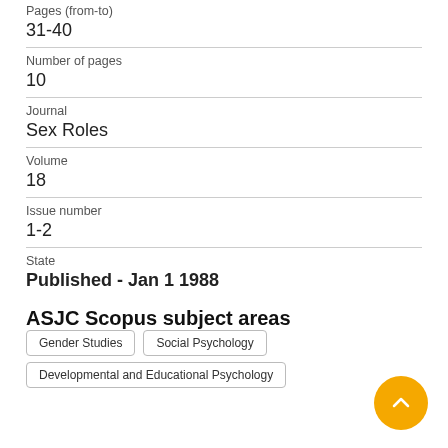Pages (from-to)
31-40
Number of pages
10
Journal
Sex Roles
Volume
18
Issue number
1-2
State
Published - Jan 1 1988
ASJC Scopus subject areas
Gender Studies
Social Psychology
Developmental and Educational Psychology